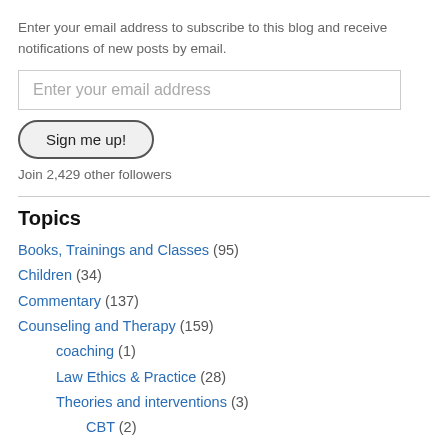Enter your email address to subscribe to this blog and receive notifications of new posts by email.
[Figure (other): Email address input field with placeholder text 'Enter your email address']
[Figure (other): Button labeled 'Sign me up!']
Join 2,429 other followers
Topics
Books, Trainings and Classes (95)
Children (34)
Commentary (137)
Counseling and Therapy (159)
coaching (1)
Law Ethics & Practice (28)
Theories and interventions (3)
CBT (2)